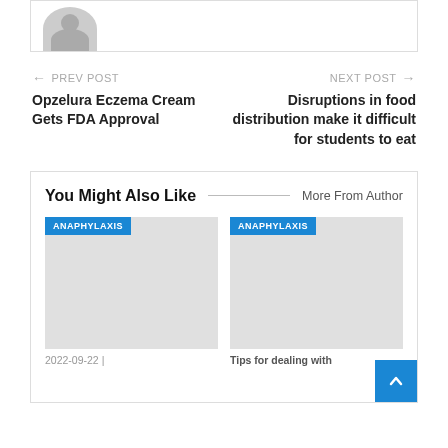[Figure (illustration): Avatar/profile image placeholder showing a silhouette of a person, partially cropped at top]
← PREV POST
Opzelura Eczema Cream Gets FDA Approval
NEXT POST →
Disruptions in food distribution make it difficult for students to eat
You Might Also Like
More From Author
[Figure (photo): Placeholder image with ANAPHYLAXIS badge (left card)]
[Figure (photo): Placeholder image with ANAPHYLAXIS badge (right card)]
2022-09-22 |
Tips for dealing with